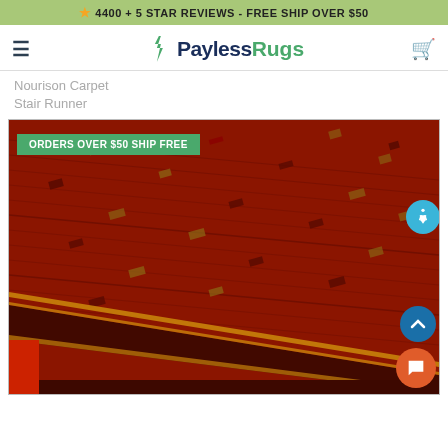★ 4400 + 5 STAR REVIEWS - FREE SHIP OVER $50
[Figure (logo): Payless Rugs logo with lightning bolt icon, hamburger menu icon on left, cart icon on right]
Nourison Carpet Stair Runner
[Figure (photo): Close-up photo of a red patterned carpet stair runner with geometric woven motifs and striped border. Green badge overlay reads ORDERS OVER $50 SHIP FREE. Accessibility icon, scroll-to-top button, and chat button visible on right side.]